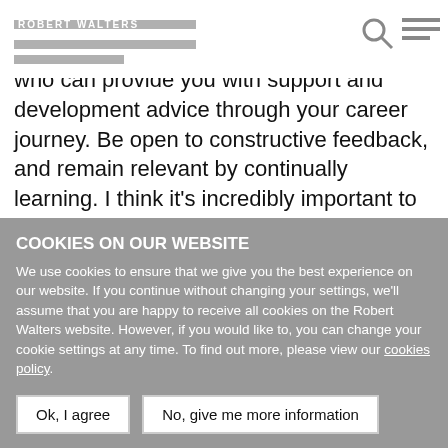ROBERT WALTERS
yourself, and speak up. What has certainly helped me is to find a person you respect who can provide you with support and development advice through your career journey. Be open to constructive feedback, and remain relevant by continually learning. I think it's incredibly important to do work you believe in, and work for a company that has values that align with your own, be it in tech or another industry.
Joon: Thanks Nisma. We hear a lot about how women can support women, how organisation can also support women. What role do you think male team members can
COOKIES ON OUR WEBSITE
We use cookies to ensure that we give you the best experience on our website. If you continue without changing your settings, we'll assume that you are happy to receive all cookies on the Robert Walters website. However, if you would like to, you can change your cookie settings at any time. To find out more, please view our cookies policy.
Ok, I agree | No, give me more information